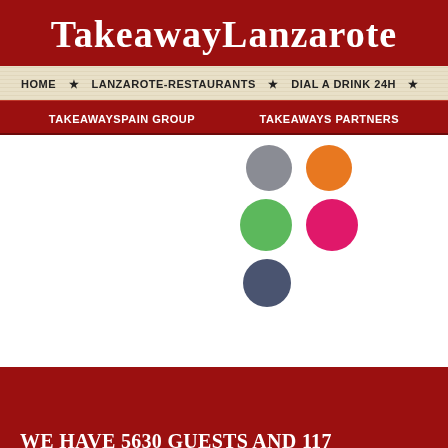TakeawayLanzarote
HOME ★ LANZAROTE-RESTAURANTS ★ DIAL A DRINK 24H ★
TAKEAWAYSPAIN GROUP   TAKEAWAYS PARTNERS
[Figure (illustration): Five colored circles arranged in a pattern: gray and orange on top row, green and pink in middle row, dark blue single on bottom row]
WE HAVE 5630 GUESTS AND 117 MEMBERS ONLINE